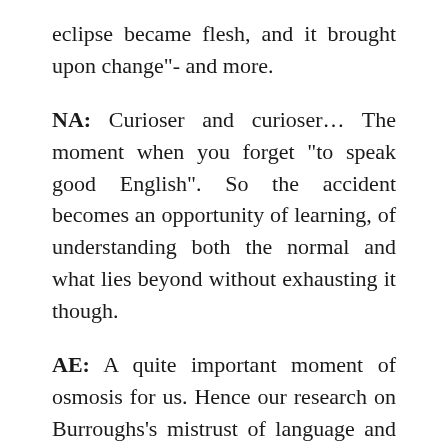eclipse became flesh, and it brought upon change”- and more.
NA: Curioser and curioser… The moment when you forget “to speak good English”. So the accident becomes an opportunity of learning, of understanding both the normal and what lies beyond without exhausting it though.
AE: A quite important moment of osmosis for us. Hence our research on Burroughs’s mistrust of language and his cut-up technique. “When you cut into the present the future leaks out” said the man who